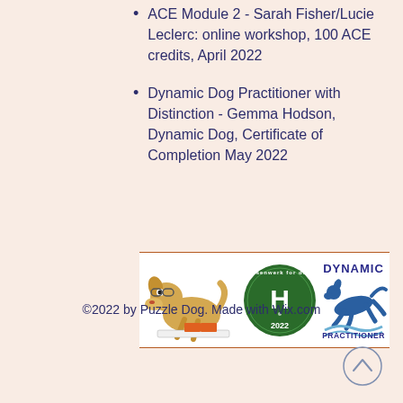ACE Module 2 - Sarah Fisher/Lucie Leclerc: online workshop, 100 ACE credits, April 2022
Dynamic Dog Practitioner with Distinction - Gemma Hodson, Dynamic Dog, Certificate of Completion May 2022
[Figure (logo): Banner with three certification logos: a cartoon dog working on an agility course, a Hersenwerk for dogs circular badge with 'H' and '2022', and a Dynamic Practitioner logo with a running dog silhouette]
©2022 by Puzzle Dog. Made with Wix.com